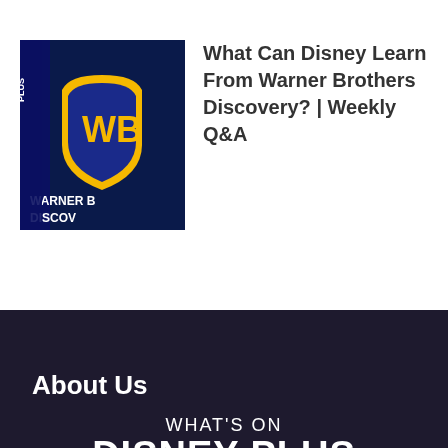[Figure (screenshot): Warner Bros. Discovery logo thumbnail — dark blue background with WB shield logo in blue/gold, partial text 'WARNER B... DISCOV...' visible]
What Can Disney Learn From Warner Brothers Discovery? | Weekly Q&A
About Us
[Figure (logo): What's On Disney Plus logo — white text reading 'WHAT'S ON' above larger bold text 'DISNEY PLUS' on dark purple background]